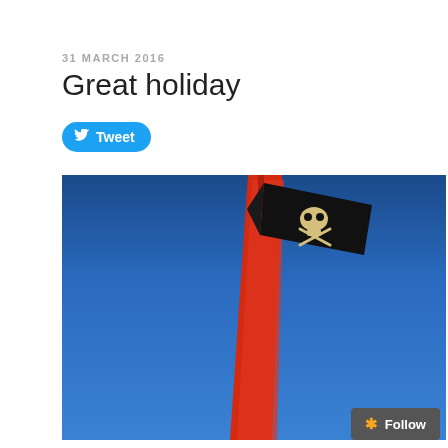31 MARCH 2016
Great holiday
[Figure (other): Tweet button with Twitter bird icon]
[Figure (photo): Photo of a red flag pole with a black pirate skull-and-crossbones flag flying against a clear blue sky]
[Figure (other): Follow button with orange asterisk icon]